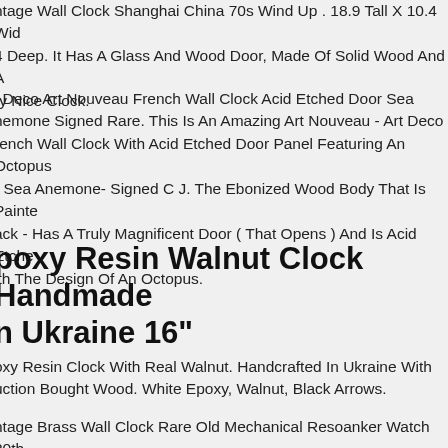ntage Wall Clock Shanghai China 70s Wind Up . 18.9 Tall X 10.4 Wid 4 Deep. It Has A Glass And Wood Door, Made Of Solid Wood And A ry Nice Clock.
t Deco Art Nouveau French Wall Clock Acid Etched Door Sea nemone Signed Rare. This Is An Amazing Art Nouveau - Art Deco rench Wall Clock With Acid Etched Door Panel Featuring An Octopus r Sea Anemone- Signed C J. The Ebonized Wood Body That Is Painte ack - Has A Truly Magnificent Door ( That Opens ) And Is Acid Etche ith The Design Of An Octopus.
poxy Resin Walnut Clock Handmade n Ukraine 16"
oxy Resin Clock With Real Walnut. Handcrafted In Ukraine With uction Bought Wood. White Epoxy, Walnut, Black Arrows.
ntage Brass Wall Clock Rare Old Mechanical Resoanker Watch 20th Quite An Interesting And Rare Model Of Old Reso...